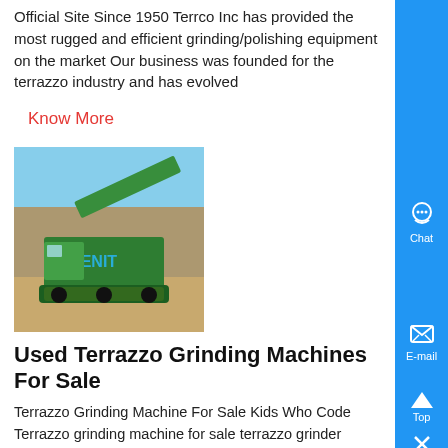Official Site Since 1950 Terrco Inc has provided the most rugged and efficient grinding/polishing equipment on the market Our business was founded for the terrazzo industry and has evolved
Know More
[Figure (photo): Green industrial grinding/crushing machine equipment outdoors with TENIT watermark]
Used Terrazzo Grinding Machines For Sale
Terrazzo Grinding Machine For Sale Kids Who Code Terrazzo grinding machine for sale terrazzo grinder manufacturers suppli china contact now r460 concrete marble terrazzo floor polishing and grinding machine for hot sale r460 concrete marble terrazzo floor polishing and grinding machine is a great floor grinder for smaller jobs or homes offices and machine can ,...